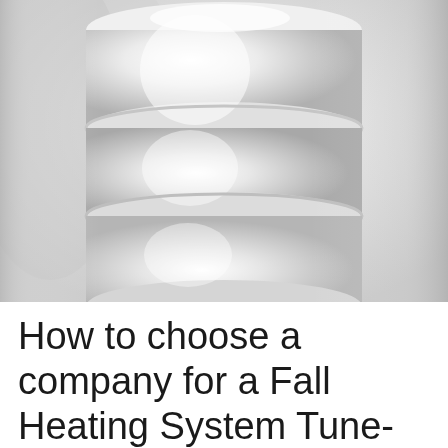[Figure (photo): Close-up photograph of white HVAC ductwork or cylindrical pipe segments stacked or connected, with a light gray and white background. The image shows rounded cylindrical duct sections with visible seams and highlights.]
How to choose a company for a Fall Heating System Tune-up